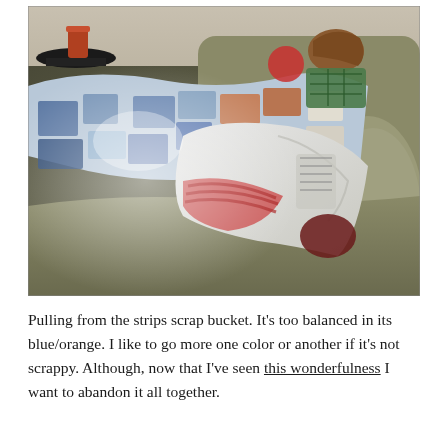[Figure (photo): A child lying on an olive/tan couch surrounded by colorful quilts and white pillows. A small round black table with a cup is visible in the upper left. The scene looks like a cozy indoor rest spot.]
Pulling from the strips scrap bucket.  It's too balanced in its blue/orange.  I like to go more one color or another if it's not scrappy.  Although, now that I've seen this wonderfulness I want to abandon it all together.